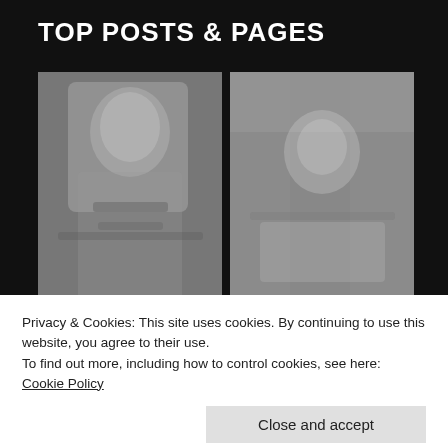TOP POSTS & PAGES
[Figure (photo): Black and white photo of a blonde woman in lingerie holding a large gun]
[Figure (photo): Black and white photo of a dark-haired woman in a bathtub]
Privacy & Cookies: This site uses cookies. By continuing to use this website, you agree to their use.
To find out more, including how to control cookies, see here: Cookie Policy
Close and accept
[Figure (photo): Colorful bottom strip images partially visible]